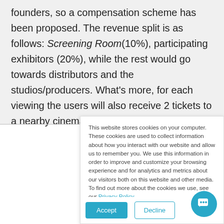founders, so a compensation scheme has been proposed. The revenue split is as follows: Screening Room(10%), participating exhibitors (20%), while the rest would go towards distributors and the studios/producers. What's more, for each viewing the users will also receive 2 tickets to a nearby cinema; this is
This website stores cookies on your computer. These cookies are used to collect information about how you interact with our website and allow us to remember you. We use this information in order to improve and customize your browsing experience and for analytics and metrics about our visitors both on this website and other media. To find out more about the cookies we use, see our Privacy Policy.
If you choose to decline, we will only store one cookie, allowing us to comply with your expressed preference on your next visits to our site.